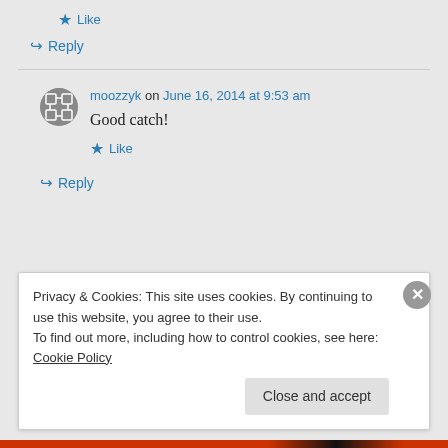Like
Reply
moozzyk on June 16, 2014 at 9:53 am
Good catch!
Like
Reply
Privacy & Cookies: This site uses cookies. By continuing to use this website, you agree to their use.
To find out more, including how to control cookies, see here: Cookie Policy
Close and accept